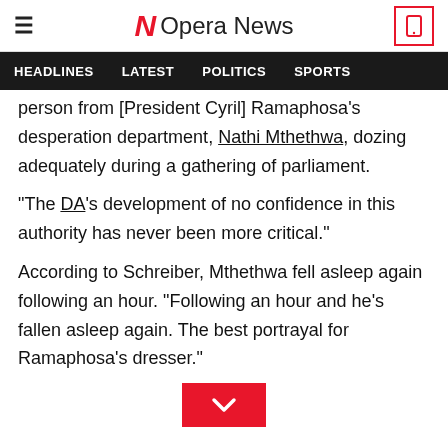Opera News
HEADLINES  LATEST  POLITICS  SPORTS
person from [President Cyril] Ramaphosa's desperation department, Nathi Mthethwa, dozing adequately during a gathering of parliament.
"The DA's development of no confidence in this authority has never been more critical."
According to Schreiber, Mthethwa fell asleep again following an hour. "Following an hour and he's fallen asleep again. The best portrayal for Ramaphosa's dresser."